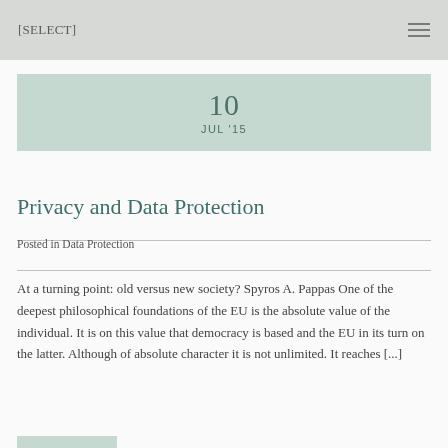[SELECT]
10
JUL '15
Privacy and Data Protection
Posted in Data Protection
At a turning point: old versus new society? Spyros A. Pappas One of the deepest philosophical foundations of the EU is the absolute value of the individual. It is on this value that democracy is based and the EU in its turn on the latter. Although of absolute character it is not unlimited. It reaches [...]